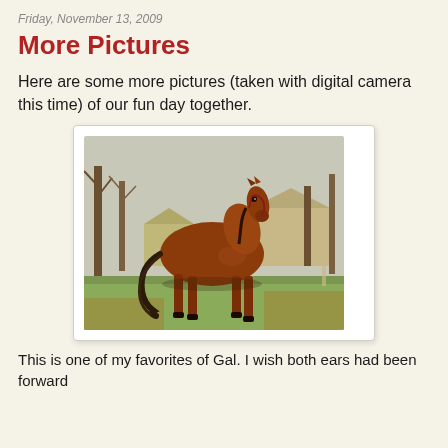Friday, November 13, 2009
More Pictures
Here are some more pictures (taken with digital camera this time) of our fun day together.
[Figure (photo): A bay horse standing in a pasture with trees and a barn structure in the background. The horse is facing right with a halter on.]
This is one of my favorites of Gal. I wish both ears had been forward